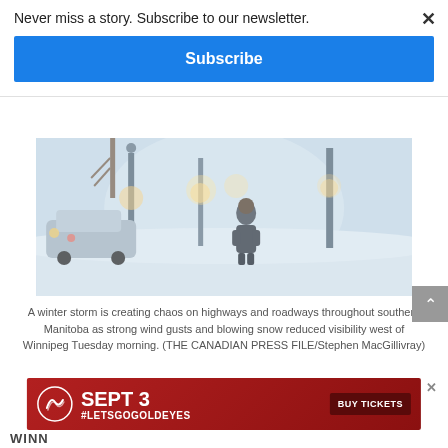Never miss a story. Subscribe to our newsletter.
Subscribe
[Figure (photo): A person standing in a heavy winter snowstorm on a street, with street lamps, a car, and trees barely visible through blowing snow and reduced visibility in southern Manitoba.]
A winter storm is creating chaos on highways and roadways throughout southern Manitoba as strong wind gusts and blowing snow reduced visibility west of Winnipeg Tuesday morning. (THE CANADIAN PRESS FILE/Stephen MacGillivray)
[Figure (infographic): Red advertisement banner for Goldeyes event on Sept 3 with #LETSGOGOLDEYES and Buy Tickets button.]